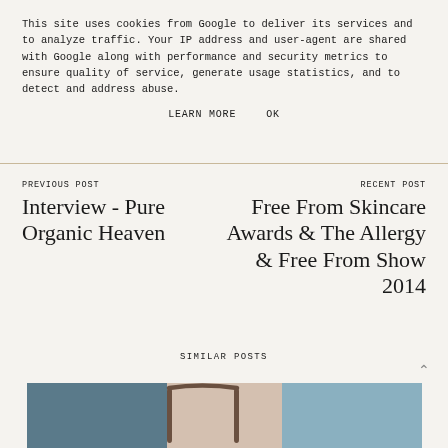This site uses cookies from Google to deliver its services and to analyze traffic. Your IP address and user-agent are shared with Google along with performance and security metrics to ensure quality of service, generate usage statistics, and to detect and address abuse.
LEARN MORE   OK
PREVIOUS POST
Interview - Pure Organic Heaven
RECENT POST
Free From Skincare Awards & The Allergy & Free From Show 2014
SIMILAR POSTS
[Figure (photo): Partial view of a bag or handle object against a light and blue background]